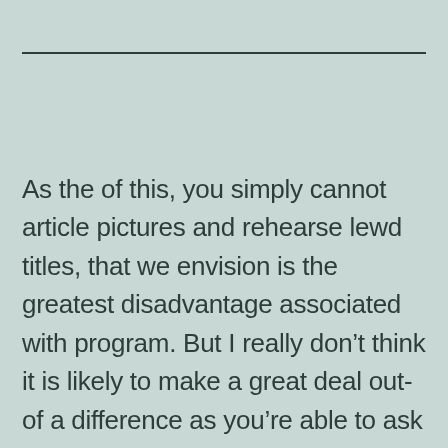As the of this, you simply cannot article pictures and rehearse lewd titles, that we envision is the greatest disadvantage associated with program. But I really don’t think it is likely to make a great deal out-of a difference as you’re able to ask for photos when you look at the messages and you will instantaneously rating individuals in order to hook with. An individual user interface of its